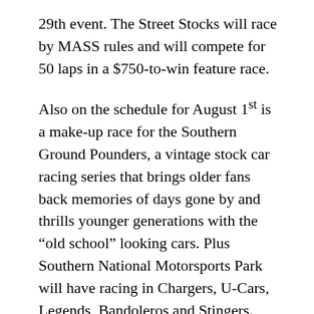29th event. The Street Stocks will race by MASS rules and will compete for 50 laps in a $750-to-win feature race.
Also on the schedule for August 1st is a make-up race for the Southern Ground Pounders, a vintage stock car racing series that brings older fans back memories of days gone by and thrills younger generations with the “old school” looking cars. Plus Southern National Motorsports Park will have racing in Chargers, U-Cars, Legends, Bandoleros and Stingers.
For more information about Southern National Motorsports Park, check out SNMP’s website at www.snmpark.com, “like” Southern National Motorsports Park on Facebook or “follow” @SNM_Park on Twitter.